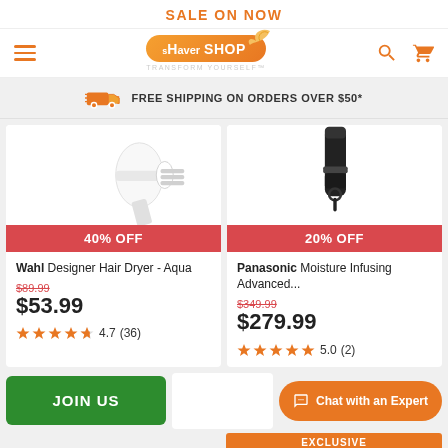SALE ON NOW
[Figure (logo): Shaver Shop logo with orange pill background and bird icon, tagline TRANSFORM YOURSELF]
FREE SHIPPING ON ORDERS OVER $50*
[Figure (photo): Wahl Designer Hair Dryer - Aqua product image]
40% OFF
Wahl Designer Hair Dryer - Aqua
$89.99
$53.99
4.7 (36)
[Figure (photo): Panasonic Moisture Infusing Advanced hair dryer product image]
20% OFF
Panasonic Moisture Infusing Advanced...
$349.99
$279.99
5.0 (2)
JOIN US
Chat with an Expert